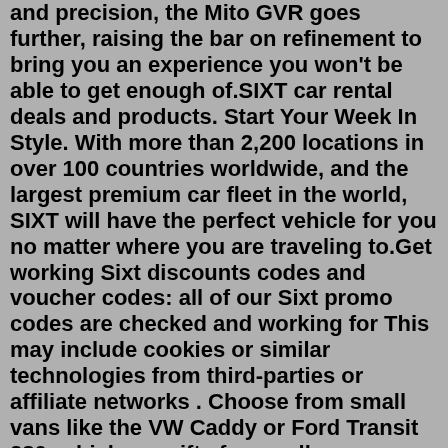and precision, the Mito GVR goes further, raising the bar on refinement to bring you an experience you won't be able to get enough of.SIXT car rental deals and products. Start Your Week In Style. With more than 2,200 locations in over 100 countries worldwide, and the largest premium car fleet in the world, SIXT will have the perfect vehicle for you no matter where you are traveling to.Get working Sixt discounts codes and voucher codes: all of our Sixt promo codes are checked and working for This may include cookies or similar technologies from third-parties or affiliate networks . Choose from small vans like the VW Caddy or Ford Transit 280, which are nifty for smaller moves. lititz air show 2022canik tp9sfx holster leatherjcop english download2 bedroom houses in crayford and dartford for saleecolab organizational chartmonopoly 3d apkleica ts12 manualdirect trailer manufacturerdelta zeta iu greek rankmilitary beret fashionfake elf bar vs realfamily dollar shelves xo